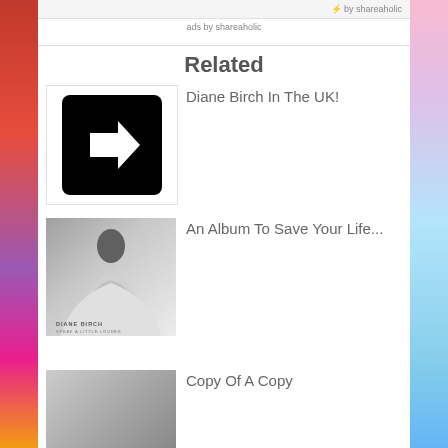⚡ by shareaholic
ads by shareaholic
Related
[Figure (illustration): Black square with rounded corners containing a white right-pointing arrow icon]
Diane Birch In The UK!
[Figure (photo): Grayscale album cover photo of Diane Birch with long dark hair, wearing a white flowing garment, with text DIANE BIRCH at the bottom]
An Album To Save Your Life...
[Figure (photo): Partially visible image at bottom of page]
Copy Of A Copy